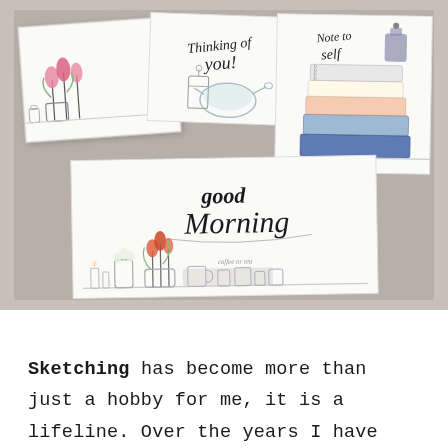[Figure (photo): Photograph of three hand-drawn watercolor sketch cards arranged on a wooden surface. Top-left card shows tulips in a vase. Top-center card reads 'Thinking of you' with a watering can. Top-right card reads 'Note to self' with a stack of books and an ink bottle. Bottom card reads 'good Morning' in calligraphy with flowers, candles, and mugs along a shelf.]
Sketching has become more than just a hobby for me, it is a lifeline. Over the years I have